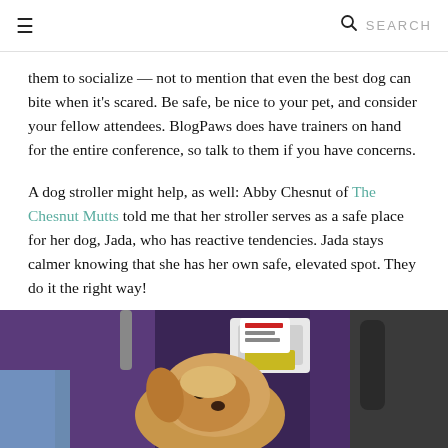☰   🔍 SEARCH
them to socialize — not to mention that even the best dog can bite when it's scared. Be safe, be nice to your pet, and consider your fellow attendees. BlogPaws does have trainers on hand for the entire conference, so talk to them if you have concerns.
A dog stroller might help, as well: Abby Chesnut of The Chesnut Mutts told me that her stroller serves as a safe place for her dog, Jada, who has reactive tendencies. Jada stays calmer knowing that she has her own safe, elevated spot. They do it the right way!
[Figure (photo): A small tan/golden dog looking up from inside a purple pet stroller, photographed from above. The dog's face is in focus with people's legs and a sidewalk visible in the background.]